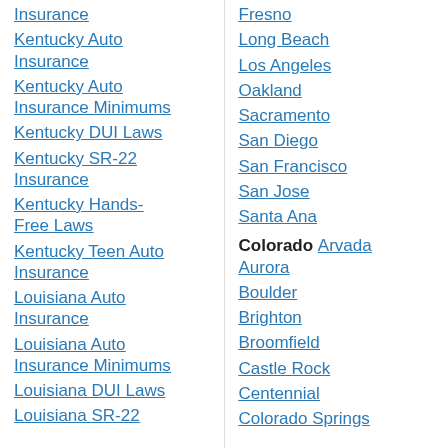Insurance
Kentucky Auto Insurance
Kentucky Auto Insurance Minimums
Kentucky DUI Laws
Kentucky SR-22 Insurance
Kentucky Hands-Free Laws
Kentucky Teen Auto Insurance
Louisiana Auto Insurance
Louisiana Auto Insurance Minimums
Louisiana DUI Laws
Louisiana SR-22
Fresno
Long Beach
Los Angeles
Oakland
Sacramento
San Diego
San Francisco
San Jose
Santa Ana
Colorado Arvada
Aurora
Boulder
Brighton
Broomfield
Castle Rock
Centennial
Colorado Springs